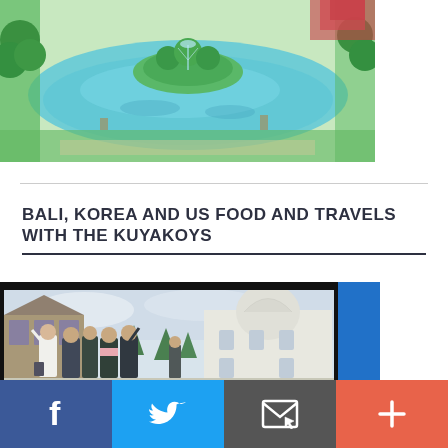[Figure (photo): Aerial or wide-angle photo of a park or garden scene with a pond, fountain, and lush green landscaping]
BALI, KOREA AND US FOOD AND TRAVELS WITH THE KUYAKOYS
[Figure (photo): Group of young women posing outdoors in front of a European-style building, arms raised, in cold weather clothing]